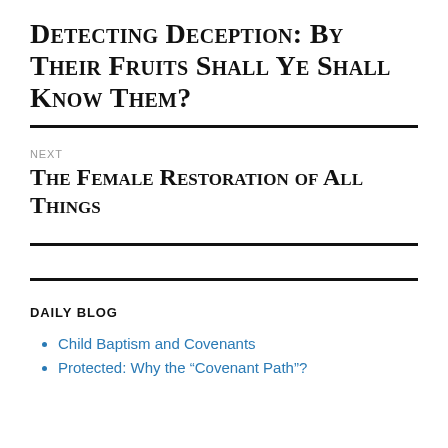Detecting Deception: By Their Fruits Shall Ye Shall Know Them?
NEXT
The Female Restoration of All Things
DAILY BLOG
Child Baptism and Covenants
Protected: Why the “Covenant Path”?